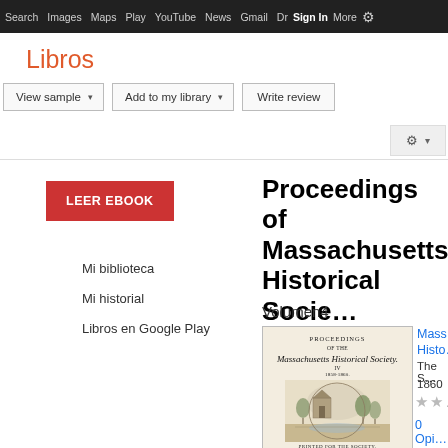Search  Images  Maps  Play  YouTube  News  Gmail  Dr  Sign In  More  ⚙
Libros
View sample ▾   Add to my library ▾   Write review
LEER EBOOK
Proceedings of Massachusetts Historical Socie…
Volumen4
Mi biblioteca
Mi historial
Libros en Google Play
[Figure (illustration): Book cover of Proceedings of Massachusetts Historical Society, showing an ornamental engraving with buildings and landscape, Gothic script title, printed for the Society, Boston.]
Mass… Histo…
The S… 1860
★★…
0 Opi…